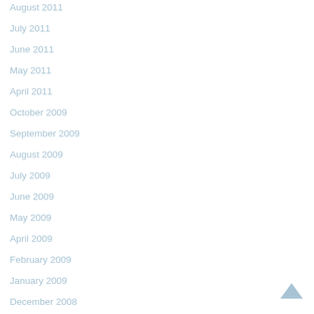August 2011
July 2011
June 2011
May 2011
April 2011
October 2009
September 2009
August 2009
July 2009
June 2009
May 2009
April 2009
February 2009
January 2009
December 2008